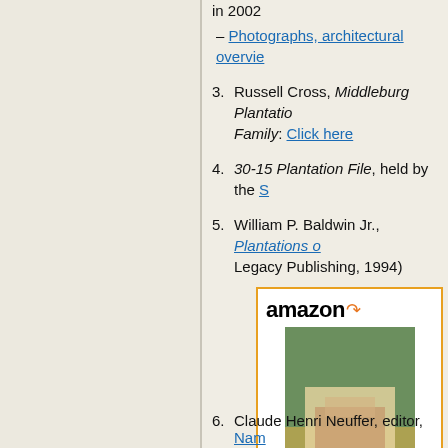in 2002
– Photographs, architectural overvie...
3. Russell Cross, Middleburg Plantatio... Family: Click here
4. 30-15 Plantation File, held by the S...
5. William P. Baldwin Jr., Plantations o... Legacy Publishing, 1994)
[Figure (other): Amazon product listing widget showing 'Plantations of the Low...' book for $7.79 with Shop now button]
6. Claude Henri Neuffer, editor, Nam...